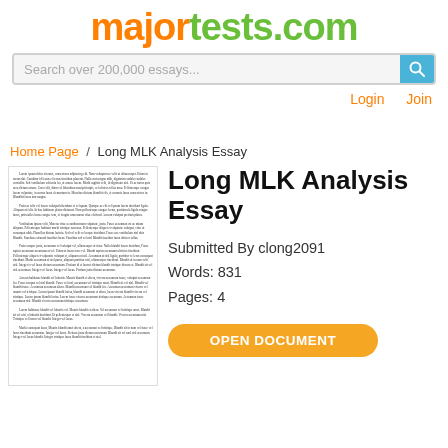majortests.com
Search over 200,000 essays...
Login  Join
Home Page / Long MLK Analysis Essay
[Figure (screenshot): Preview thumbnail of a multi-paragraph essay document]
Long MLK Analysis Essay
Submitted By clong2091
Words: 831
Pages: 4
OPEN DOCUMENT